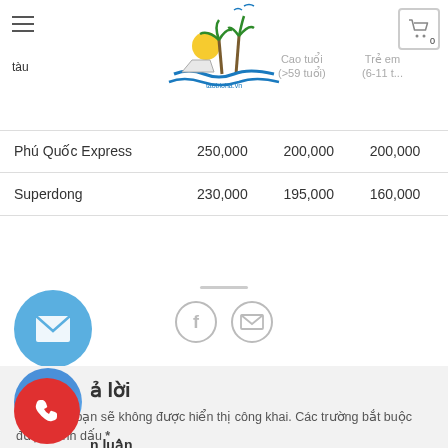tàu | Cao tuổi (>59 tuổi) | Trẻ em (6-11 tuổi) | [cart: 0]
|  |  | Cao tuổi (>59 tuổi) | Trẻ em (6-11 t...) |
| --- | --- | --- | --- |
| Phú Quốc Express | 250,000 | 200,000 | 200,000 |
| Superdong | 230,000 | 195,000 | 160,000 |
[Figure (infographic): Social share icons: Facebook circle and Email circle]
[Figure (infographic): Blue floating email button (envelope icon)]
[Figure (infographic): Blue Zalo floating button]
ả lời
Email của bạn sẽ không được hiển thị công khai. Các trường bắt buộc được đánh dấu *
n luận
[Figure (infographic): Red floating phone button]